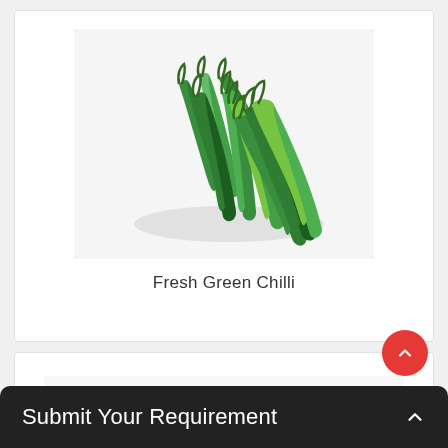[Figure (photo): A bunch of fresh green chilli peppers on a white background]
Fresh Green Chilli
[Figure (photo): Partially visible red onions at the bottom of the frame]
Submit Your Requirement